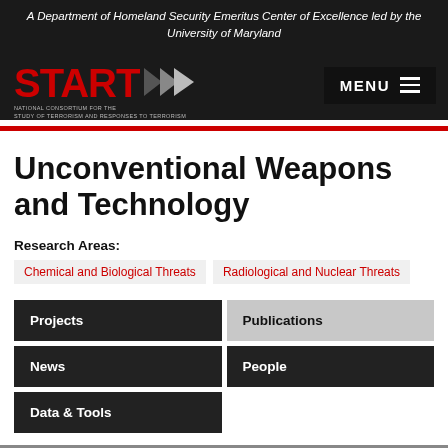A Department of Homeland Security Emeritus Center of Excellence led by the University of Maryland
[Figure (logo): START National Consortium for the Study of Terrorism and Responses to Terrorism logo with red text and arrow chevrons]
Unconventional Weapons and Technology
Research Areas: Chemical and Biological Threats | Radiological and Nuclear Threats
Projects
Publications
News
People
Data & Tools